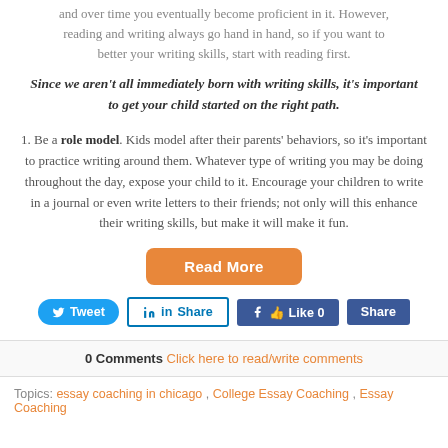and over time you eventually become proficient in it. However, reading and writing always go hand in hand, so if you want to better your writing skills, start with reading first.
Since we aren't all immediately born with writing skills, it's important to get your child started on the right path.
1. Be a role model. Kids model after their parents' behaviors, so it's important to practice writing around them. Whatever type of writing you may be doing throughout the day, expose your child to it. Encourage your children to write in a journal or even write letters to their friends; not only will this enhance their writing skills, but make it will make it fun.
[Figure (other): Read More button - orange rounded rectangle with white bold text]
[Figure (other): Social sharing buttons: Tweet (Twitter), Share (LinkedIn), Like 0 (Facebook), Share (Facebook)]
0 Comments  Click here to read/write comments
Topics:  essay coaching in chicago ,  College Essay Coaching ,  Essay Coaching